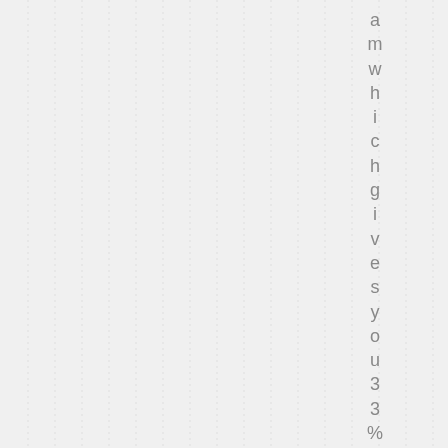a m w h i c h g i v e s y o u 3 3 % c